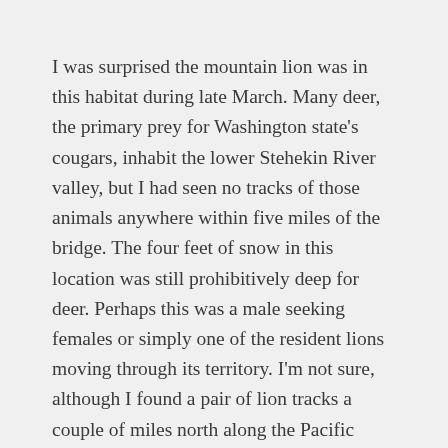I was surprised the mountain lion was in this habitat during late March. Many deer, the primary prey for Washington state's cougars, inhabit the lower Stehekin River valley, but I had seen no tracks of those animals anywhere within five miles of the bridge. The four feet of snow in this location was still prohibitively deep for deer. Perhaps this was a male seeking females or simply one of the resident lions moving through its territory. I'm not sure, although I found a pair of lion tracks a couple of miles north along the Pacific Crest Trail three days afterward.